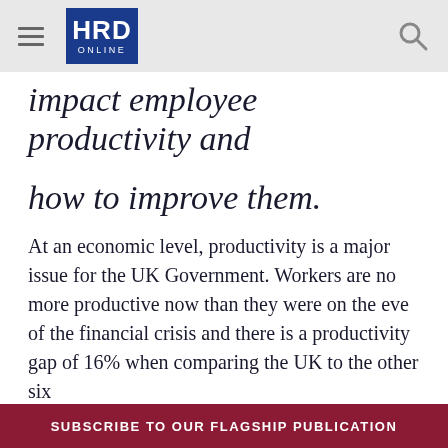HRD ONLINE
impact employee productivity and how to improve them.
At an economic level, productivity is a major issue for the UK Government. Workers are no more productive now than they were on the eve of the financial crisis and there is a productivity gap of 16% when comparing the UK to the other six
SUBSCRIBE TO OUR FLAGSHIP PUBLICATION